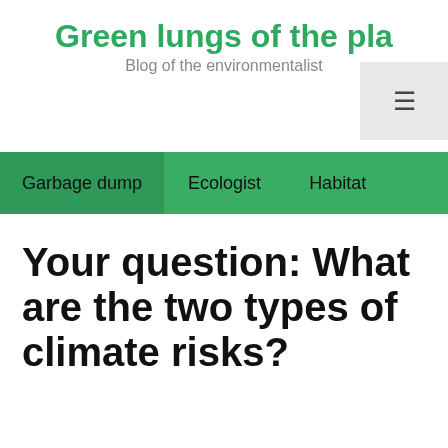Green lungs of the pla
Blog of the environmentalist
[Figure (other): Hamburger menu icon button in a light grey box in the top right corner]
Garbage dump   Ecologist   Habitat
Your question: What are the two types of climate risks?